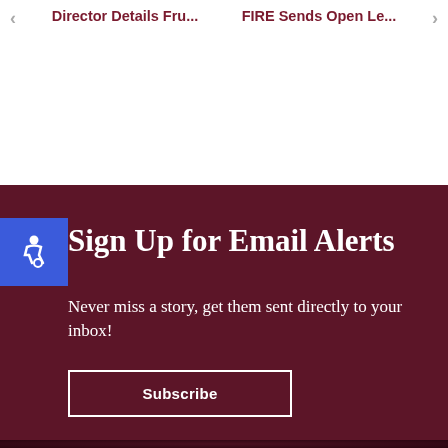Director Details Fru...   FIRE Sends Open Le...
Sign Up for Email Alerts
Never miss a story, get them sent directly to your inbox!
Subscribe